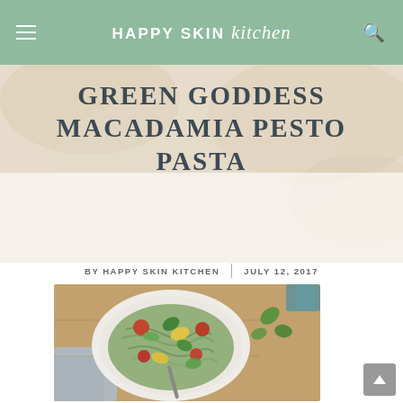HAPPY SKIN kitchen
GREEN GODDESS MACADAMIA PESTO PASTA
BY HAPPY SKIN KITCHEN | JULY 12, 2017
[Figure (photo): Overhead photo of a bowl of green goddess macadamia pesto pasta with zucchini, yellow squash, cherry tomatoes, and fresh basil leaves on a wooden cutting board]